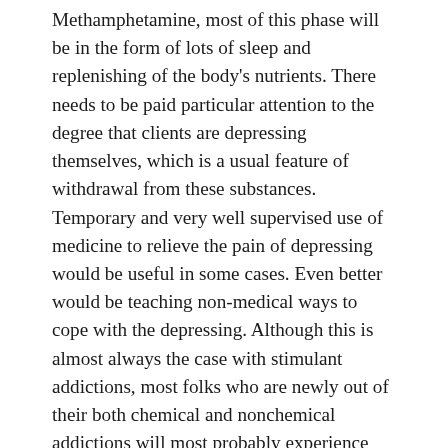Methamphetamine, most of this phase will be in the form of lots of sleep and replenishing of the body's nutrients. There needs to be paid particular attention to the degree that clients are depressing themselves, which is a usual feature of withdrawal from these substances. Temporary and very well supervised use of medicine to relieve the pain of depressing would be useful in some cases. Even better would be teaching non-medical ways to cope with the depressing. Although this is almost always the case with stimulant addictions, most folks who are newly out of their both chemical and nonchemical addictions will most probably experience periods where they are depressing themselves. For most of them, very active engagement in the following phases of recovery will get them through. When it doesn't, they too are candidates for the various forms of antidepressive therapies.